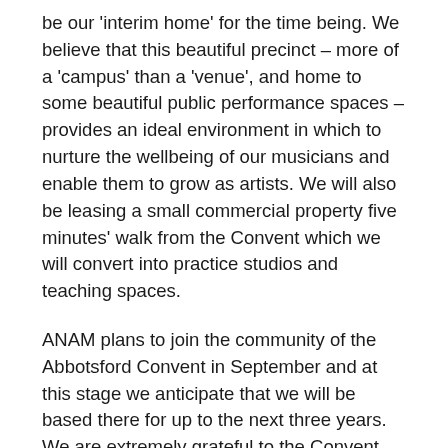be our 'interim home' for the time being. We believe that this beautiful precinct – more of a 'campus' than a 'venue', and home to some beautiful public performance spaces – provides an ideal environment in which to nurture the wellbeing of our musicians and enable them to grow as artists. We will also be leasing a small commercial property five minutes' walk from the Convent which we will convert into practice studios and teaching spaces.
ANAM plans to join the community of the Abbotsford Convent in September and at this stage we anticipate that we will be based there for up to the next three years. We are extremely grateful to the Convent team for welcoming us so warmly into their lovely home. You can read about the Abbotsford Convent at abbotsfordconvent.com.au.